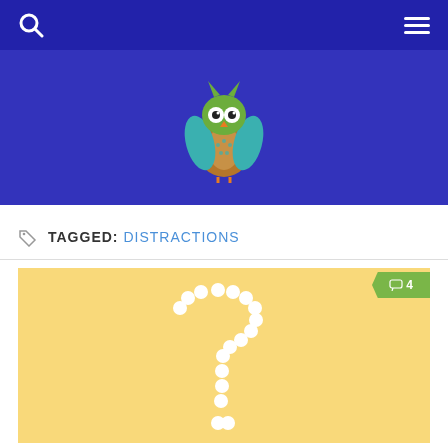Navigation bar with search and menu icons
[Figure (illustration): Cartoon owl illustration centered on a dark blue banner background]
TAGGED: DISTRACTIONS
[Figure (photo): Yellow/golden background with a question mark made of white round pills/spheres, with a green comment badge showing '4' in the top right corner]